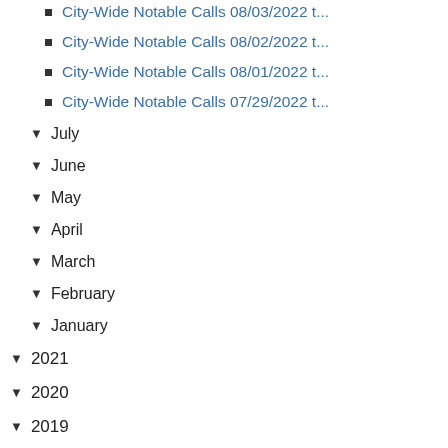City-Wide Notable Calls 08/03/2022 t...
City-Wide Notable Calls 08/02/2022 t...
City-Wide Notable Calls 08/01/2022 t...
City-Wide Notable Calls 07/29/2022 t...
▾ July
▾ June
▾ May
▾ April
▾ March
▾ February
▾ January
▾ 2021
▾ 2020
▾ 2019
▾ 2018
▾ 2017
▾ 2016
▾ 2015